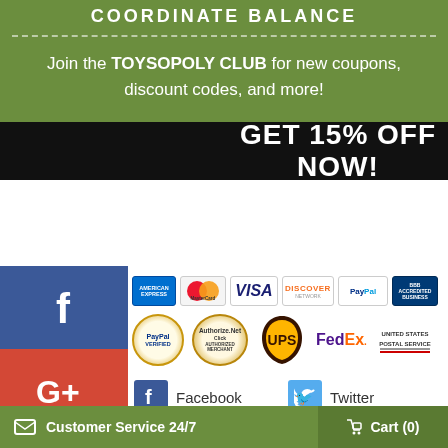COORDINATE BALANCE
Join the TOYSOPOLY CLUB for new coupons, discount codes, and more!
GET 15% OFF NOW!
[Figure (logo): Social media icons (Facebook, Google+, Pinterest, Tumblr, StumbleUpon) on left side, payment logos (AmEx, MasterCard, Visa, Discover, PayPal, BBB, PayPal Verified, Authorize.Net, UPS, FedEx, USPS) in center, social links (Facebook, Twitter, Pinterest, Instagram) at bottom]
Facebook
Twitter
Pinterest
Instagram
Customer Service 24/7   Cart (0)